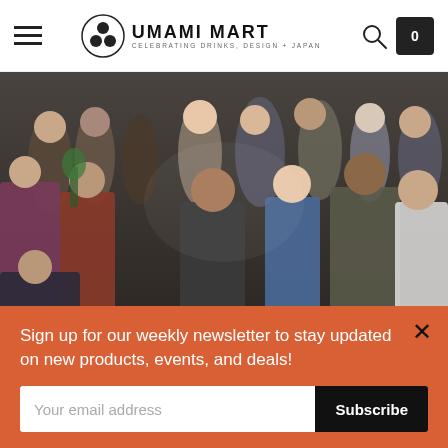Umami Mart — Celebrating Drinks, Design + Japan
[Figure (photo): Crowd of people socializing at an indoor event, dimly lit venue with exposed ceiling, guests holding drinks and conversing.]
Sign up for our weekly newsletter to stay updated on new products, events, and deals!